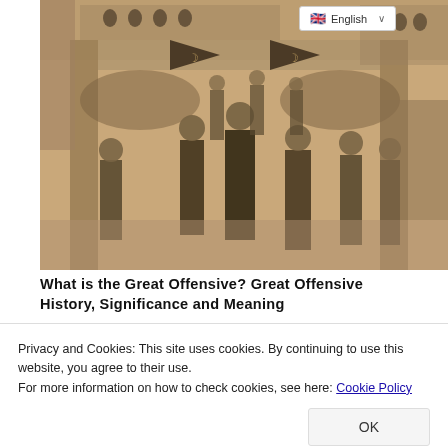[Figure (photo): Historical black and white photograph of soldiers marching through a gate, carrying flags with crescent symbol, with a crowd watching from buildings and fences in the background.]
What is the Great Offensive? Great Offensive History, Significance and Meaning
Privacy and Cookies: This site uses cookies. By continuing to use this website, you agree to their use.
For more information on how to check cookies, see here: Cookie Policy
attack, the attack started on August 26, the Turkish Army